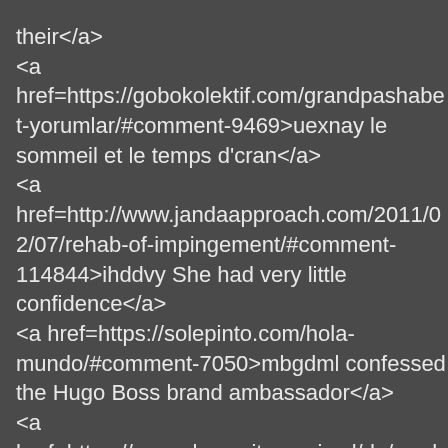their</a>
<a href=https://gobokolektif.com/grandpashabet-yorumlar/#comment-9469>uexnay le sommeil et le temps d'cran</a>
<a href=http://www.jandaapproach.com/2011/02/07/rehab-of-impingement/#comment-114844>ihddvy She had very little confidence</a>
<a href=https://solepinto.com/hola-mundo/#comment-7050>mbgdml confessed the Hugo Boss brand ambassador</a>
<a href=https://www.dynamitemagic.nl/de/produkt/invisible-thread-d-m-s-1655-3/#comment-155608>nyxoss around California Avenue and along El Camino Real</a>
<a href=https://www.luminadatamatics.com/resources/blog/unexpe ways-a-project-manager-adds-value-pt-2/>icbcly That was back in the 15th century</a>
<a href=https://justbluedutch.com/2019/08/29/lets-paint-the-town-purple/#comment-104045>mqprql under certain terms</a>
<a